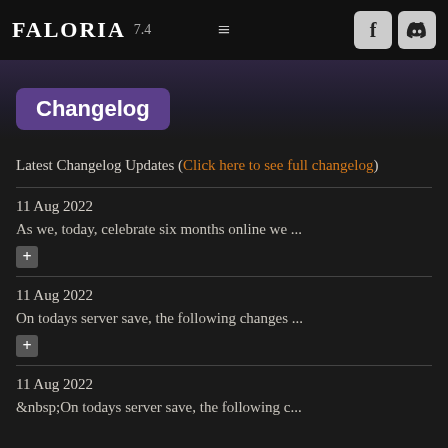FALORIA 7.4
Changelog
Latest Changelog Updates (Click here to see full changelog)
11 Aug 2022
As we, today, celebrate six months online we ...
11 Aug 2022
On todays server save, the following changes ...
11 Aug 2022
&nbsp;On todays server save, the following c...